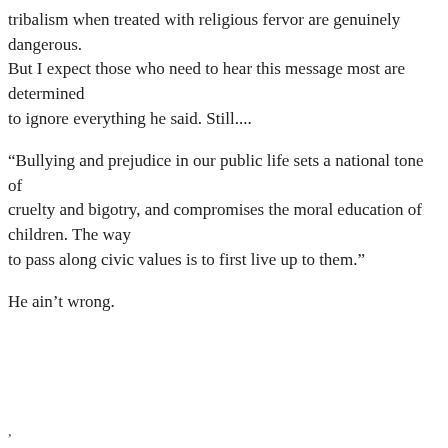tribalism when treated with religious fervor are genuinely dangerous. But I expect those who need to hear this message most are determined to ignore everything he said. Still....
“Bullying and prejudice in our public life sets a national tone of cruelty and bigotry, and compromises the moral education of children. The way to pass along civic values is to first live up to them.”
He ain’t wrong.
,
Share this:
Twitter  Facebook